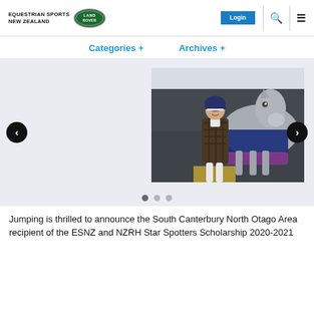EQUESTRIAN SPORTS NEW ZEALAND | Land Rover | Login
Categories +    Archives +
[Figure (photo): Young female equestrian rider in riding jacket and helmet standing beside a grey horse with blue blanket, in a stable or show ground setting.]
Jumping is thrilled to announce the South Canterbury North Otago Area recipient of the ESNZ and NZRH Star Spotters Scholarship 2020-2021